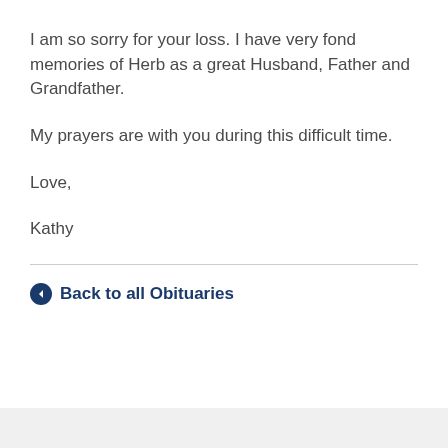I am so sorry for your loss. I have very fond memories of Herb as a great Husband, Father and Grandfather.
My prayers are with you during this difficult time.
Love,
Kathy
Back to all Obituaries